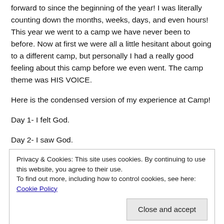forward to since the beginning of the year! I was literally counting down the months, weeks, days, and even hours! This year we went to a camp we have never been to before. Now at first we were all a little hesitant about going to a different camp, but personally I had a really good feeling about this camp before we even went. The camp theme was HIS VOICE.
Here is the condensed version of my experience at Camp!
Day 1- I felt God.
Day 2- I saw God.
Privacy & Cookies: This site uses cookies. By continuing to use this website, you agree to their use.
To find out more, including how to control cookies, see here: Cookie Policy
Close and accept
Day 3- On this day my experience between 3:00